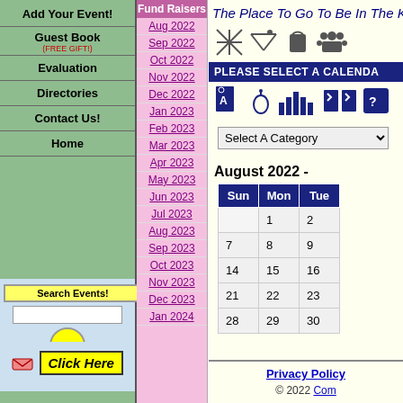Add Your Event!
Guest Book (FREE GIFT!)
Evaluation
Directories
Contact Us!
Home
Fund Raisers
Aug 2022
Sep 2022
Oct 2022
Nov 2022
Dec 2022
Jan 2023
Feb 2023
Mar 2023
Apr 2023
May 2023
Jun 2023
Jul 2023
Aug 2023
Sep 2023
Oct 2023
Nov 2023
Dec 2023
Jan 2024
The Place To Go To Be In The Know
PLEASE SELECT A CALENDAR
Select A Category
August 2022 -
| Sun | Mon | Tue |
| --- | --- | --- |
|  | 1 | 2 |
| 7 | 8 | 9 |
| 14 | 15 | 16 |
| 21 | 22 | 23 |
| 28 | 29 | 30 |
Search Events!
GO
Power Search
Click Here
Privacy Policy
© 2022 Com...